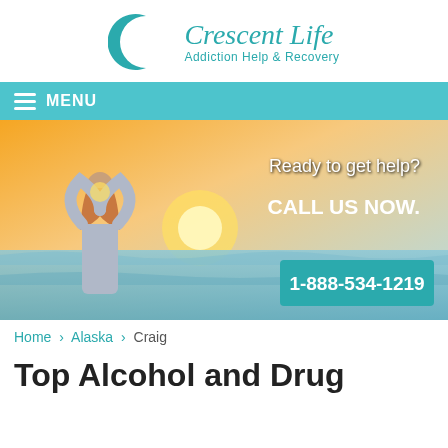[Figure (logo): Crescent Life logo with teal crescent moon and figure, text 'Crescent Life Addiction Help & Recovery']
MENU
[Figure (photo): Woman standing at beach forming heart shape with hands against sunset, overlaid with text 'Ready to get help? CALL US NOW. 1-888-534-1219']
Home › Alaska › Craig
Top Alcohol and Drug